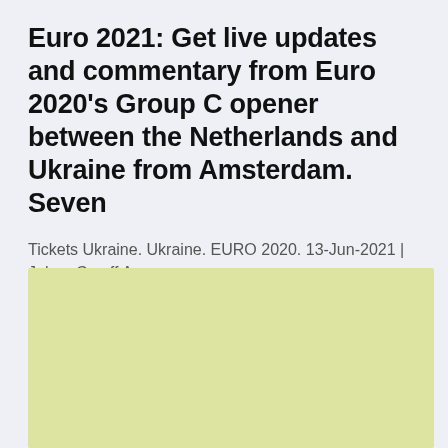Euro 2021: Get live updates and commentary from Euro 2020's Group C opener between the Netherlands and Ukraine from Amsterdam. Seven
Tickets Ukraine. Ukraine. EURO 2020. 13-Jun-2021 | Johan Cruyff Arena.
[Figure (other): A large light yellow-green rectangle placeholder image area]